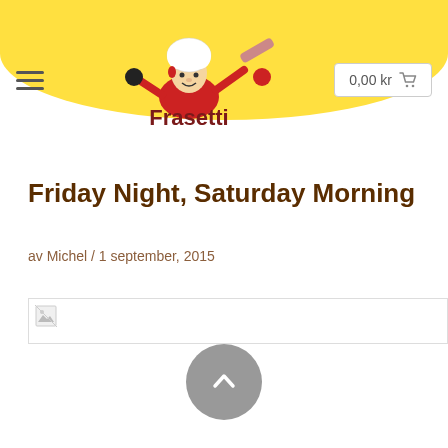[Figure (logo): Frasetti restaurant logo with chef illustration holding rolling pin and ping pong paddle, text 'Frasetti' in dark red/maroon]
Friday Night, Saturday Morning
av Michel / 1 september, 2015
[Figure (photo): Broken/missing image placeholder]
[Figure (other): Scroll-to-top button, grey circle with upward chevron]